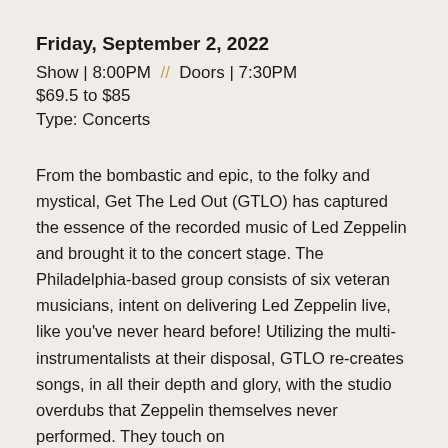Friday, September 2, 2022
Show | 8:00PM  //  Doors | 7:30PM
$69.5 to $85
Type: Concerts
From the bombastic and epic, to the folky and mystical, Get The Led Out (GTLO) has captured the essence of the recorded music of Led Zeppelin and brought it to the concert stage. The Philadelphia-based group consists of six veteran musicians, intent on delivering Led Zeppelin live, like you've never heard before! Utilizing the multi-instrumentalists at their disposal, GTLO re-creates songs, in all their depth and glory, with the studio overdubs that Zeppelin themselves never performed. They touch on